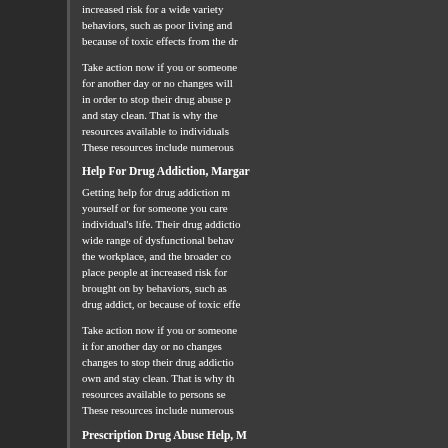increased risk for a wide variety of behaviors, such as poor living and because of toxic effects from the dr
Take action now if you or someone for another day or no changes will in order to stop their drug abuse p and stay clean. That is why the resources available to individuals These resources include numerous
Help For Drug Addiction, Margar
Getting help for drug addiction m yourself or for someone you care individual's life. Their drug addictio wide range of dysfunctional behav the workplace, and the broader co place people at increased risk for brought on by behaviors, such as drug addict, or because of toxic effe
Take action now if you or someone it for another day or no changes changes to stop their drug addictio own and stay clean. That is why th resources available to persons se These resources include numerous
Prescription Drug Abuse Help, M
Help for prescription drug abuse becoming dependent on the variou shown that abuse of any drug, illic is no one form of prescription drug help for prescription drug abuse, o needs of the individual.